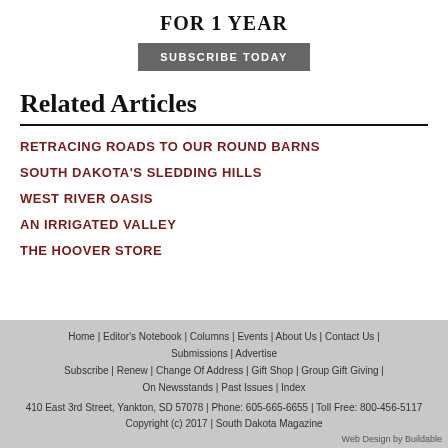FOR 1 YEAR
SUBSCRIBE TODAY
Related Articles
RETRACING ROADS TO OUR ROUND BARNS
SOUTH DAKOTA'S SLEDDING HILLS
WEST RIVER OASIS
AN IRRIGATED VALLEY
THE HOOVER STORE
Home | Editor's Notebook | Columns | Events | About Us | Contact Us | Submissions | Advertise | Subscribe | Renew | Change Of Address | Gift Shop | Group Gift Giving | On Newsstands | Past Issues | Index
410 East 3rd Street, Yankton, SD 57078 | Phone: 605-665-6655 | Toll Free: 800-456-5117
Copyright (c) 2017 | South Dakota Magazine
Web Design by Buildable